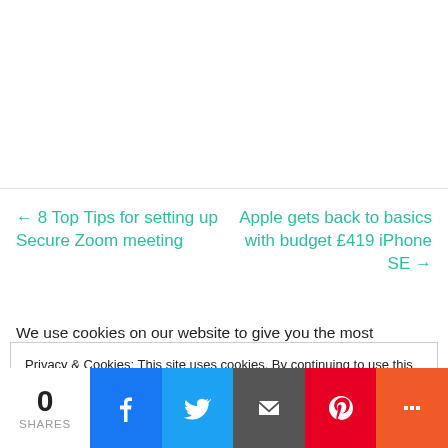← 8 Top Tips for setting up Secure Zoom meeting
Apple gets back to basics with budget £419 iPhone SE →
We use cookies on our website to give you the most relevant
Privacy & Cookies: This site uses cookies. By continuing to use this website, you agree to their use.
To find out more, including how to control cookies, see here: Cookie Policy
0 SHARES | Facebook | Twitter | Email | Pinterest | More